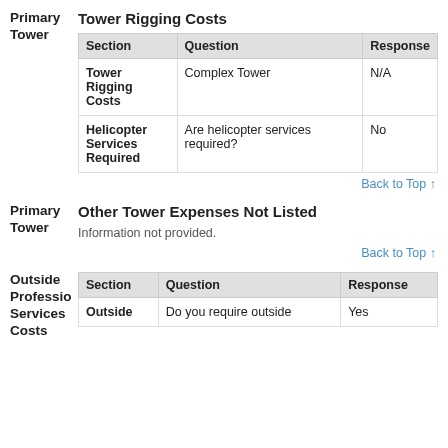Primary Tower   Tower Rigging Costs
| Section | Question | Response |
| --- | --- | --- |
| Tower Rigging Costs | Complex Tower | N/A |
| Helicopter Services Required | Are helicopter services required? | No |
Back to Top ↑
Primary Tower   Other Tower Expenses Not Listed
Information not provided.
Back to Top ↑
Outside Professional Services Costs
| Section | Question | Response |
| --- | --- | --- |
| Outside | Do you require outside | Yes |